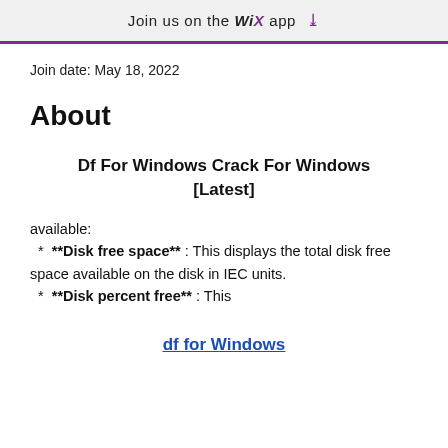Join us on the WiX app ↓
Join date: May 18, 2022
About
Df For Windows Crack For Windows [Latest]
available:
  *  **Disk free space** : This displays the total disk free space available on the disk in IEC units.
  *  **Disk percent free** : This
df for Windows